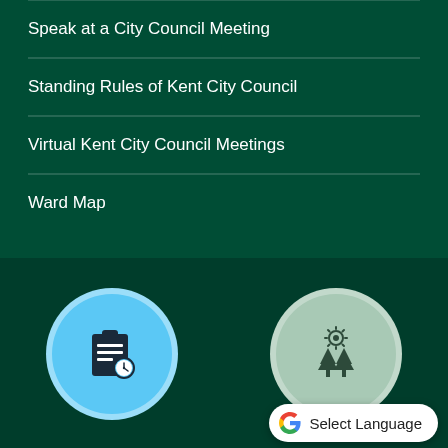Speak at a City Council Meeting
Standing Rules of Kent City Council
Virtual Kent City Council Meetings
Ward Map
[Figure (illustration): Blue circle with agenda/calendar and clock icon]
[Figure (illustration): Sage green circle with trees and sun/gear icon]
Select Language